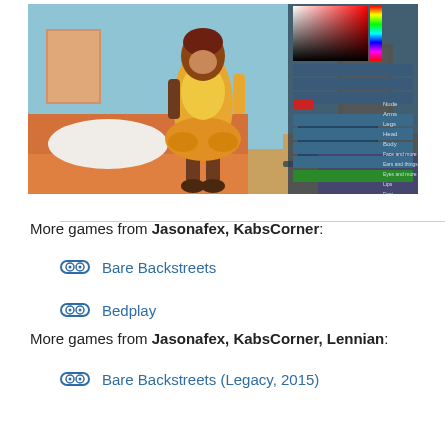[Figure (screenshot): Screenshot of an adult furry visual novel/game showing an anthropomorphic bird-like character standing in a bedroom, with a color picker UI overlay on the right side of the screen.]
More games from Jasonafex, KabsCorner:
Bare Backstreets
Bedplay
More games from Jasonafex, KabsCorner, Lennian:
Bare Backstreets (Legacy, 2015)